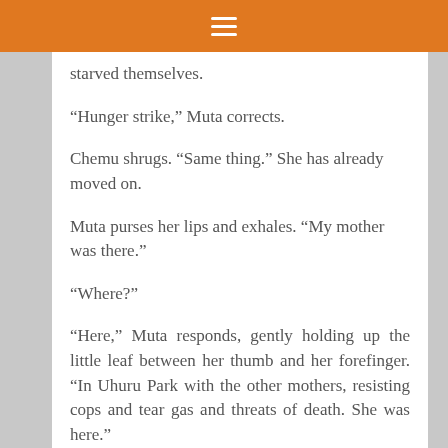≡
starved themselves.
“Hunger strike,” Muta corrects.
Chemu shrugs. “Same thing.” She has already moved on.
Muta purses her lips and exhales. “My mother was there.”
“Where?”
“Here,” Muta responds, gently holding up the little leaf between her thumb and her forefinger. “In Uhuru Park with the other mothers, resisting cops and tear gas and threats of death. She was here.”
Muta opens her other palm wide, letting the leaf fall into it. She watches the breeze lift it up